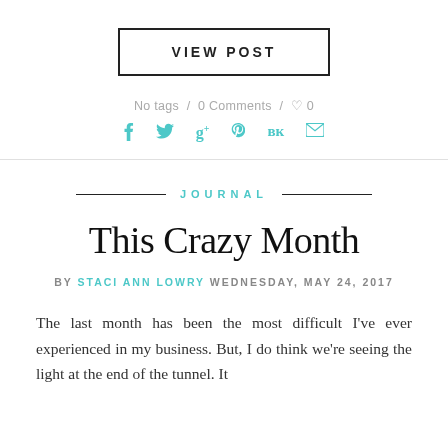VIEW POST
No tags / 0 Comments / ♡ 0
f  🐦  g+  p  vk  ✉
JOURNAL
This Crazy Month
BY STACI ANN LOWRY WEDNESDAY, MAY 24, 2017
The last month has been the most difficult I've ever experienced in my business. But, I do think we're seeing the light at the end of the tunnel. It